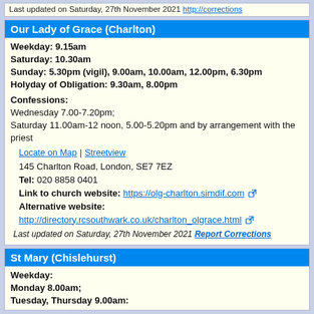Last updated on Saturday, 27th November 2021 http://corrections
Our Lady of Grace (Charlton)
Weekday: 9.15am
Saturday: 10.30am
Sunday: 5.30pm (vigil), 9.00am, 10.00am, 12.00pm, 6.30pm
Holyday of Obligation: 9.30am, 8.00pm
Confessions:
Wednesday 7.00-7.20pm;
Saturday 11.00am-12 noon, 5.00-5.20pm and by arrangement with the priest
Locate on Map | Streetview
145 Charlton Road, London, SE7 7EZ
Tel: 020 8858 0401
Link to church website: https://olg-charlton.simdif.com
Alternative website:
http://directory.rcsouthwark.co.uk/charlton_olgrace.html
Last updated on Saturday, 27th November 2021 Report Corrections
St Mary (Chislehurst)
Weekday:
Monday 8.00am;
Tuesday, Thursday 9.00am: